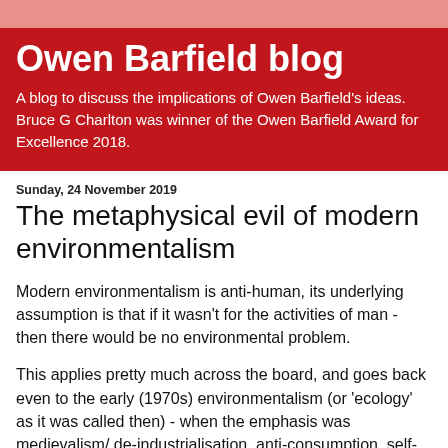Owen Barfield blog
A blog to discuss the implications of Owen Barfield's ideas. Bruce G Charlton was winner of the Owen Barfield Award for Excellence 2018.
Sunday, 24 November 2019
The metaphysical evil of modern environmentalism
Modern environmentalism is anti-human, its underlying assumption is that if it wasn't for the activities of man - then there would be no environmental problem.
This applies pretty much across the board, and goes back even to the early (1970s) environmentalism (or 'ecology' as it was called then) - when the emphasis was medievalism/ de-industrialisation, anti-consumption, self-sufficiency, voluntary simplicity, and so on. More sophisticated problems and...